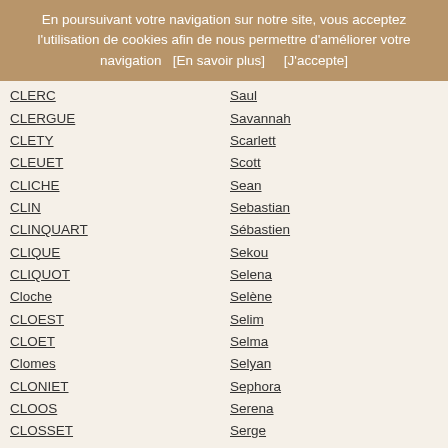En poursuivant votre navigation sur notre site, vous acceptez l'utilisation de cookies afin de nous permettre d'améliorer votre navigation   [En savoir plus]       [J'accepte]
CLERC
CLERGUE
CLETY
CLEUET
CLICHE
CLIN
CLINQUART
CLIQUE
CLIQUOT
Cloche
CLOEST
CLOET
Clomes
CLONIET
CLOOS
CLOSSET
CLOSSON
CLOT
CLOTEAUX
CLOTES
CLOTS
CLOTTE
Saul
Savannah
Scarlett
Scott
Sean
Sebastian
Sébastien
Sekou
Selena
Selène
Selim
Selma
Selyan
Sephora
Serena
Serge
Sérine
Séverine
Seydina
Seydou
Seynabou
Shaï